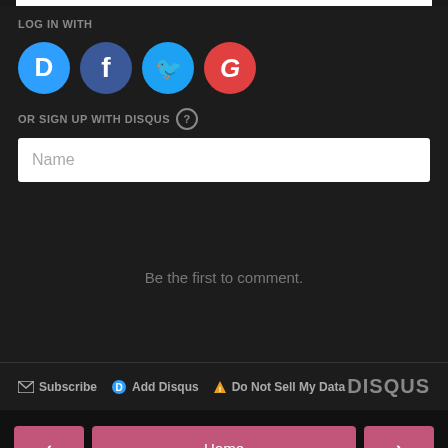LOG IN WITH
[Figure (illustration): Four social login icons: Disqus (blue circle with D), Facebook (dark blue circle with f), Twitter (light blue circle with bird), Google (red circle with G)]
OR SIGN UP WITH DISQUS ?
Name
Be the first to comment.
Subscribe  Add Disqus  Do Not Sell My Data  DISQUS
< Home > View web version